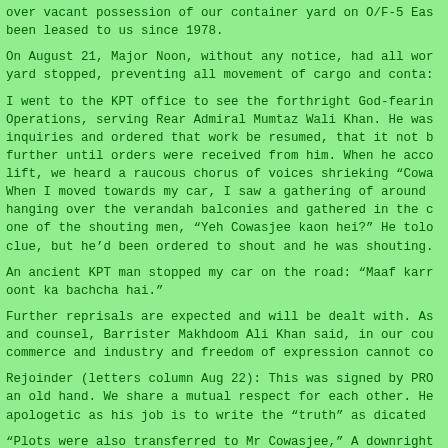over vacant possession of our container yard on O/F-5 Eas been leased to us since 1978.
On August 21, Major Noon, without any notice, had all wor yard stopped, preventing all movement of cargo and conta:
I went to the KPT office to see the forthright God-feari Operations, serving Rear Admiral Mumtaz Wali Khan. He was inquiries and ordered that work be resumed, that it not b further until orders were received from him. When he acco lift, we heard a raucous chorus of voices shrieking “Cowa When I moved towards my car, I saw a gathering of around hanging over the verandah balconies and gathered in the c one of the shouting men, “Yeh Cowasjee kaon hei?” He tolo clue, but he’d been ordered to shout and he was shouting.
An ancient KPT man stopped my car on the road: “Maaf karr oont ka bachcha hai.”
Further reprisals are expected and will be dealt with. As and counsel, Barrister Makhdoom Ali Khan said, in our cou commerce and industry and freedom of expression cannot co
Rejoinder (letters column Aug 22): This was signed by PRO an old hand. We share a mutual respect for each other. He apologetic as his job is to write the “truth” as dicated
“Plots were also transferred to Mr Cowasjee,” A downright never asked for a Port Trust plot, and no plot has ever b “transferred” to me.